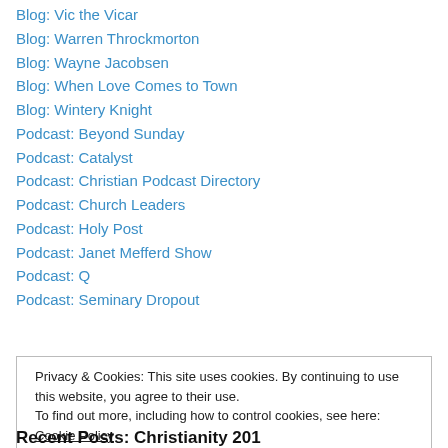Blog: Vic the Vicar
Blog: Warren Throckmorton
Blog: Wayne Jacobsen
Blog: When Love Comes to Town
Blog: Wintery Knight
Podcast: Beyond Sunday
Podcast: Catalyst
Podcast: Christian Podcast Directory
Podcast: Church Leaders
Podcast: Holy Post
Podcast: Janet Mefferd Show
Podcast: Q
Podcast: Seminary Dropout
Privacy & Cookies: This site uses cookies. By continuing to use this website, you agree to their use.
To find out more, including how to control cookies, see here: Cookie Policy
Recent Posts: Christianity 201